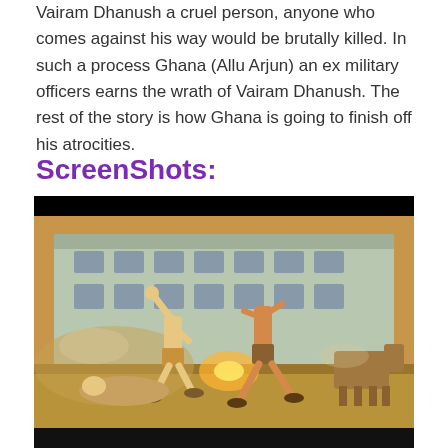Vairam Dhanush a cruel person, anyone who comes against his way would be brutally killed. In such a process Ghana (Allu Arjun) an ex military officers earns the wrath of Vairam Dhanush. The rest of the story is how Ghana is going to finish off his atrocities.
ScreenShots:
[Figure (screenshot): A movie scene screenshot showing two men fighting in a dusty street in front of a large old colonial-style building. One man has raised his fist while the other is on the ground. There is smoke and orange light in the background. A horse is visible on the right side. The image has black letterbox bars at the top and bottom.]